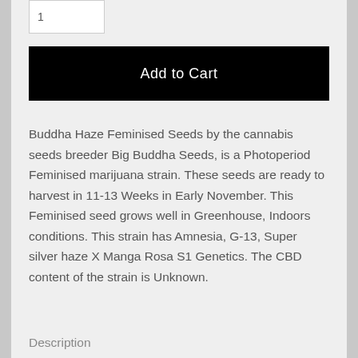[Figure (screenshot): Quantity input box with value 1]
Add to Cart
Buddha Haze Feminised Seeds by the cannabis seeds breeder Big Buddha Seeds, is a Photoperiod Feminised marijuana strain. These seeds are ready to harvest in 11-13 Weeks in Early November. This Feminised seed grows well in Greenhouse, Indoors conditions. This strain has Amnesia, G-13, Super silver haze X Manga Rosa S1 Genetics. The CBD content of the strain is Unknown.
Description